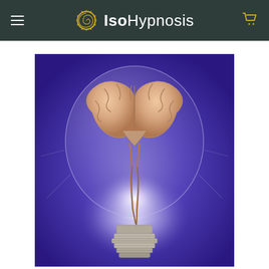IsoHypnosis
[Figure (illustration): A 3D rendered illustration of a human brain sitting inside a clear glass light bulb, glowing with bright light, set against a vivid blue-purple gradient background. The brain replaces the filament of the bulb, with the bulb's metal base at the bottom.]